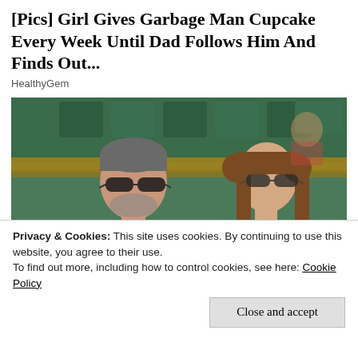[Pics] Girl Gives Garbage Man Cupcake Every Week Until Dad Follows Him And Finds Out...
HealthyGem
[Figure (photo): A man in a dark navy suit with a light tie wearing sunglasses, sitting next to a young woman with long brown hair wearing sunglasses and a sparkly top with a pink flower, seated in what appears to be stadium or event seating with green seats in the background.]
Privacy & Cookies: This site uses cookies. By continuing to use this website, you agree to their use.
To find out more, including how to control cookies, see here: Cookie Policy
Close and accept